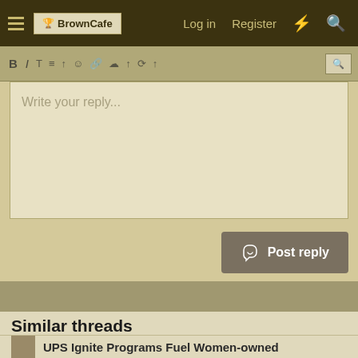BrownCafe · Log in · Register
Write your reply...
Post reply
Similar threads
Changing the world one small business at a time
cheryl · UPS Pressroom News
Replies: 1 · Mar 31, 2022
UPS Ignite Programs Fuel Women-owned